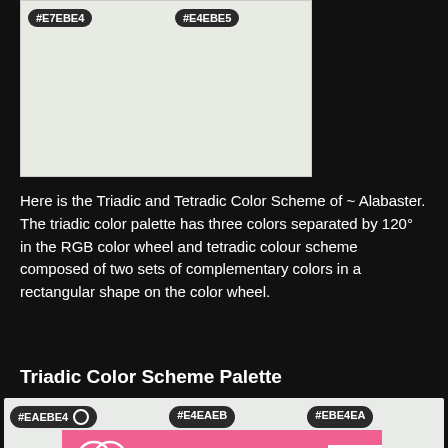[Figure (other): Color swatch showing two color tags #E7EBE4 and #E4EBE5 over a light grayish-white rectangle]
Here is the Triadic and Tetradic Color Scheme of ~ Alabaster. The triadic color palette has three colors separated by 120° in the RGB color wheel and tetradic colour scheme composed of two sets of complementary colors in a rectangular shape on the color wheel.
Triadic Color Scheme Palette
[Figure (other): Triadic color scheme palette area showing three color tags: #EAEBE4 (with circle icon), #E4EAEB, and #EBE4EA over a light grayish swatch area with a CLOSE button]
[Figure (other): Victoria's Secret advertisement banner with model photo, VS logo, 'SHOP THE COLLECTION' text, and 'SHOP NOW' button on pink background]